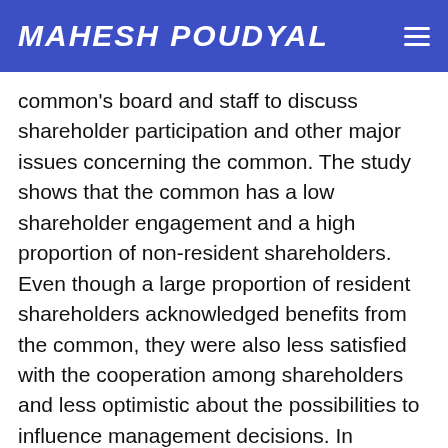MAHESH POUDYAL
common's board and staff to discuss shareholder participation and other major issues concerning the common. The study shows that the common has a low shareholder engagement and a high proportion of non-resident shareholders. Even though a large proportion of resident shareholders acknowledged benefits from the common, they were also less satisfied with the cooperation among shareholders and less optimistic about the possibilities to influence management decisions. In contrast, the majority of non-resident shareholders saw 'no disadvantages' of the common. Although most of the shareholders regularly visit the common, hardly any participate in the general meetings. While residency outside the municipality certainly seems to have an impact on the